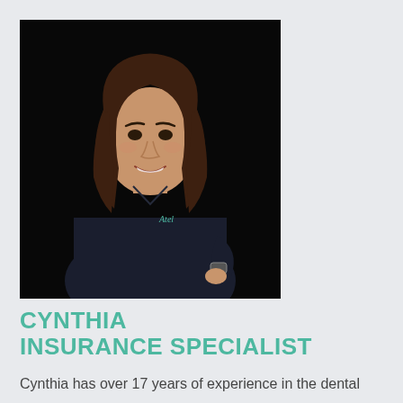[Figure (photo): Professional headshot of Cynthia, an Insurance Specialist, wearing a dark navy polo shirt with a logo, smiling, against a black background.]
CYNTHIA
INSURANCE SPECIALIST
Cynthia has over 17 years of experience in the dental